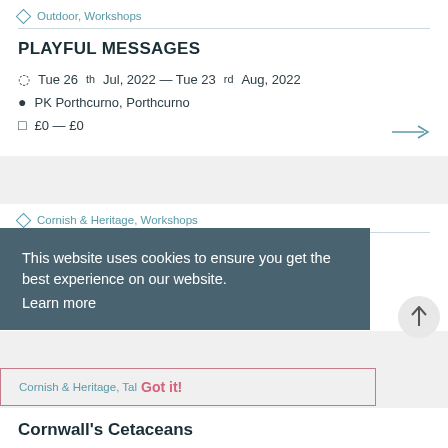Outdoor, Workshops
PLAYFUL MESSAGES
Tue 26th Jul, 2022 — Tue 23rd Aug, 2022
PK Porthcurno, Porthcurno
£0 — £0
Cornish & Heritage, Workshops
Morse Code Sessions
Wed 3rd Aug, 2022 — Wed 24th Aug, 2022
Bodmin Keep, Bodmin
This website uses cookies to ensure you get the best experience on our website. Learn more
Cornish & Heritage, Tal Got it!
Cornwall's Cetaceans